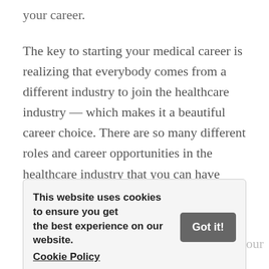your career.
The key to starting your medical career is realizing that everybody comes from a different industry to join the healthcare industry — which makes it a beautiful career choice. There are so many different roles and career opportunities in the healthcare industry that you can have come from any background that you want and still have a successful career. You shouldn't be ashamed of your career choices or what led you to working in the healthcare industry.
This website uses cookies to ensure you get the best experience on our website. Cookie Policy
In addition, you shouldn't feel bad about your current career based on what others say about